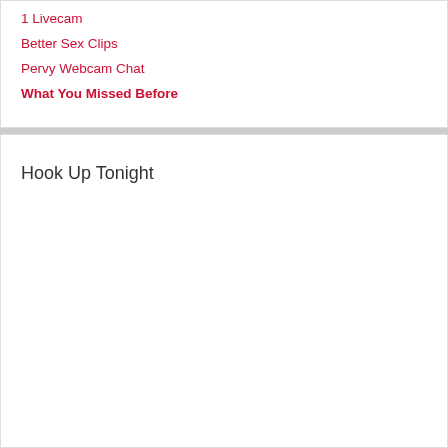1 Livecam
Better Sex Clips
Pervy Webcam Chat
What You Missed Before
Hook Up Tonight